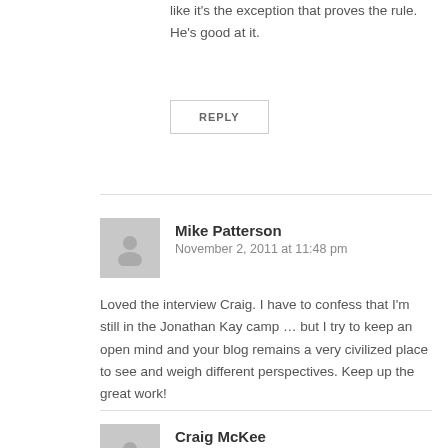like it's the exception that proves the rule. He's good at it.
REPLY
Mike Patterson
November 2, 2011 at 11:48 pm
Loved the interview Craig. I have to confess that I'm still in the Jonathan Kay camp … but I try to keep an open mind and your blog remains a very civilized place to see and weigh different perspectives. Keep up the great work!
REPLY
[Figure (illustration): Generic avatar placeholder image for Mike Patterson comment]
Craig McKee
[Figure (illustration): Generic avatar placeholder image for Craig McKee comment]